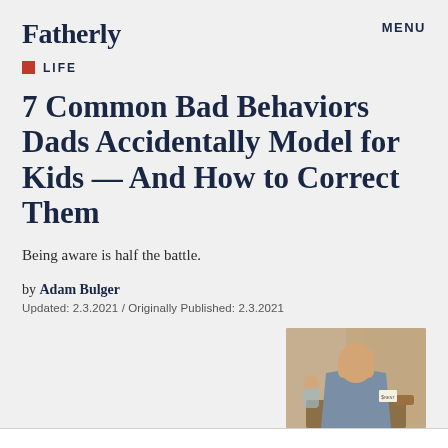Fatherly
MENU
LIFE
7 Common Bad Behaviors Dads Accidentally Model for Kids — And How to Correct Them
Being aware is half the battle.
by Adam Bulger
Updated: 2.3.2021 / Originally Published: 2.3.2021
[Figure (photo): A man holding his face in his hands, appearing stressed, with a child visible in the background at a table]
our kids watch your every move. And they